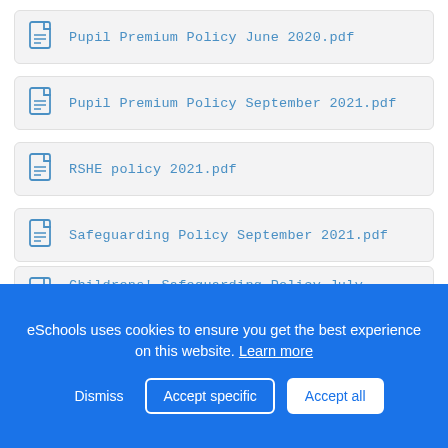Pupil Premium Policy June 2020.pdf
Pupil Premium Policy September 2021.pdf
RSHE policy 2021.pdf
Safeguarding Policy September 2021.pdf
Childrens' Safeguarding Policy July 2021.pdf
eSchools uses cookies to ensure you get the best experience on this website. Learn more
Dismiss | Accept specific | Accept all